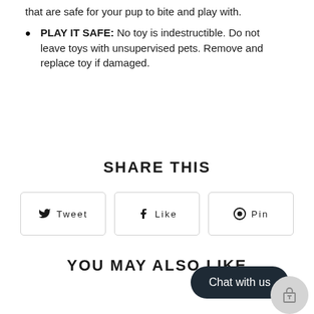that are safe for your pup to bite and play with.
PLAY IT SAFE: No toy is indestructible. Do not leave toys with unsupervised pets. Remove and replace toy if damaged.
SHARE THIS
Tweet  Like  Pin
YOU MAY ALSO LIKE
Chat with us